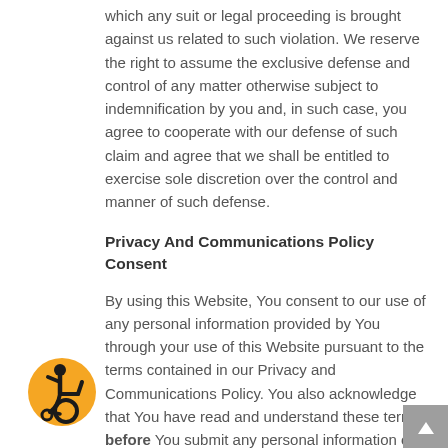which any suit or legal proceeding is brought against us related to such violation. We reserve the right to assume the exclusive defense and control of any matter otherwise subject to indemnification by you and, in such case, you agree to cooperate with our defense of such claim and agree that we shall be entitled to exercise sole discretion over the control and manner of such defense.
Privacy And Communications Policy Consent
By using this Website, You consent to our use of any personal information provided by You through your use of this Website pursuant to the terms contained in our Privacy and Communications Policy. You also acknowledge that You have read and understand these terms before You submit any personal information on this Website for any reason.
Anti-Spam Policy
We intend to comply with the requirements of the CAN-
[Figure (illustration): Accessibility icon: orange circle with wheelchair user symbol in black]